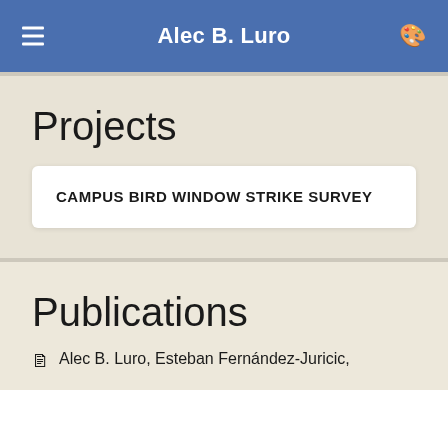Alec B. Luro
Projects
CAMPUS BIRD WINDOW STRIKE SURVEY
Publications
Alec B. Luro, Esteban Fernández-Juricic,